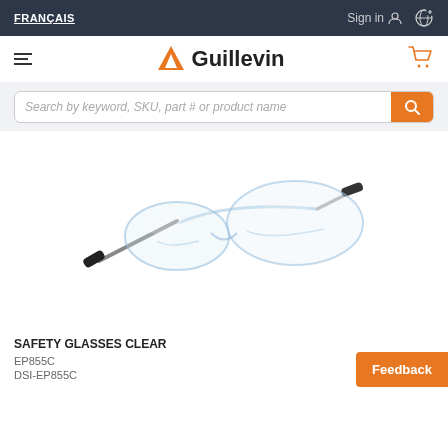FRANÇAIS | Sign in | Globe icon
[Figure (logo): Guillevin logo with orange triangle A icon and bold text Guillevin, hamburger menu on left, shopping cart on right]
Search by keyword, SKU, part # or product name
[Figure (photo): Clear safety glasses with black rubber temple tips, transparent polycarbonate lenses, shown at an angle on white background]
SAFETY GLASSES CLEAR
EP855C
DSI-EP855C